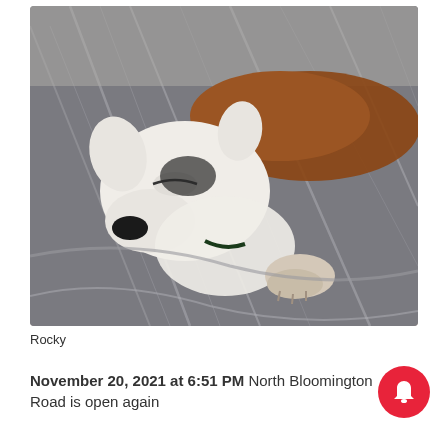[Figure (photo): A white and brown dog (Rocky) sleeping on a grey and white striped blanket/comforter on a bed]
Rocky
November 20, 2021 at 6:51 PM North Bloomington Road is open again